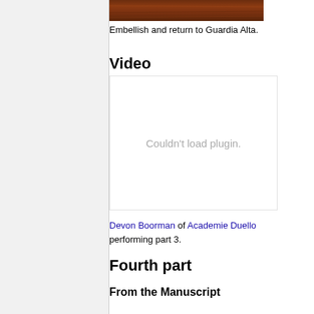[Figure (photo): Brown wood texture image at the top of the content area]
Embellish and return to Guardia Alta.
Video
[Figure (other): Video plugin area showing 'Couldn't load plugin.' message]
Devon Boorman of Academie Duello performing part 3.
Fourth part
From the Manuscript